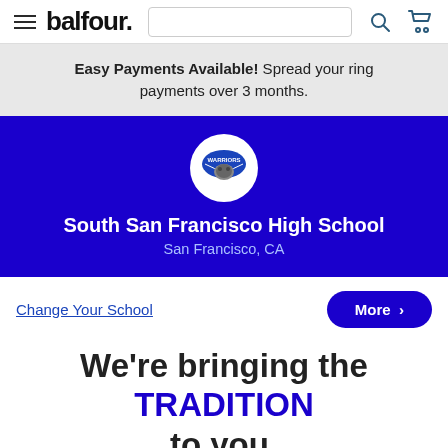balfour. [hamburger menu] [search icon] [cart icon]
Easy Payments Available! Spread your ring payments over 3 months.
[Figure (logo): South San Francisco High School mascot logo in white circle on blue background, with school name 'South San Francisco High School' and location 'San Francisco, CA']
Change Your School
More >
We're bringing the TRADITION to you.
Everything you need to make your memories count.